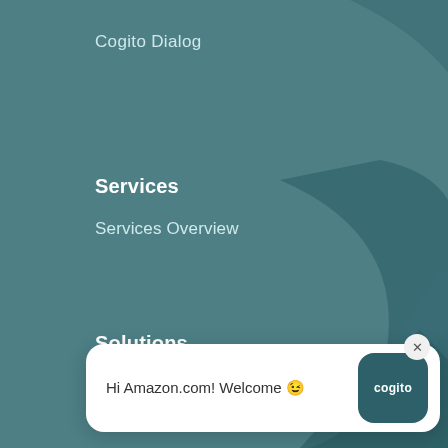Cogito Dialog
Services
Services Overview
Solutions
Healthcare
Insurance
Financial Services
Tech and Telco
Travel and Hos...
Retail
Agents Anywh...
Service
[Figure (screenshot): Cogito chat popup widget showing 'Hi Amazon.com! Welcome 😁' message with Cogito logo button and close button]